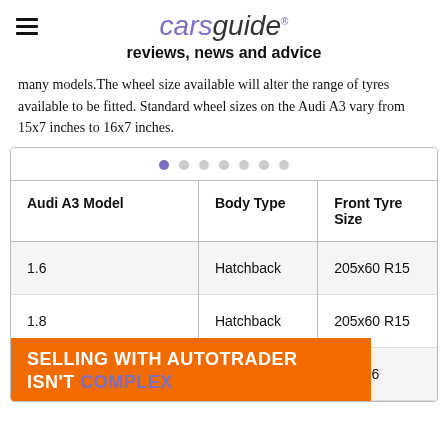carsguide reviews, news and advice
many models. The wheel size available will alter the range of tyres available to be fitted. Standard wheel sizes on the Audi A3 vary from 15x7 inches to 16x7 inches.
| Audi A3 Model | Body Type | Front Tyre Size |
| --- | --- | --- |
| 1.6 | Hatchback | 205x60 R15 |
| 1.8 | Hatchback | 205x60 R15 |
| 1.8 T... |  | ...55 R16 |